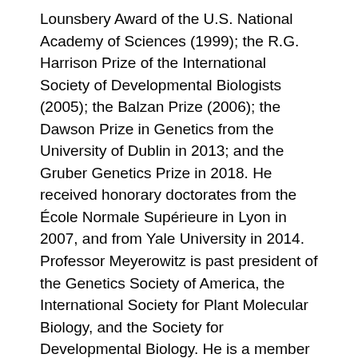Lounsbery Award of the U.S. National Academy of Sciences (1999); the R.G. Harrison Prize of the International Society of Developmental Biologists (2005); the Balzan Prize (2006); the Dawson Prize in Genetics from the University of Dublin in 2013; and the Gruber Genetics Prize in 2018. He received honorary doctorates from the École Normale Supérieure in Lyon in 2007, and from Yale University in 2014. Professor Meyerowitz is past president of the Genetics Society of America, the International Society for Plant Molecular Biology, and the Society for Developmental Biology. He is a member of the National Academy of Sciences (he completed a term as a member of the Academy Council in 2009), the American Academy of Arts and Sciences, and the American Philosophical Society. He is a foreign member of the Royal Society, a foreign associate of the Académie des Sciences of France, and an Associate Member of the European Molecular Biology Organization.